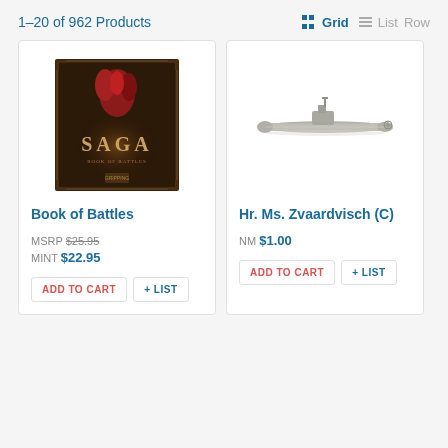1–20 of 962 Products
[Figure (screenshot): Book of Battles product card with SAGA book cover image]
Book of Battles
MSRP $25.95 MINT $22.95
[Figure (screenshot): Hr. Ms. Zvaardvisch (C) product card with submarine model image]
Hr. Ms. Zvaardvisch (C)
NM $1.00